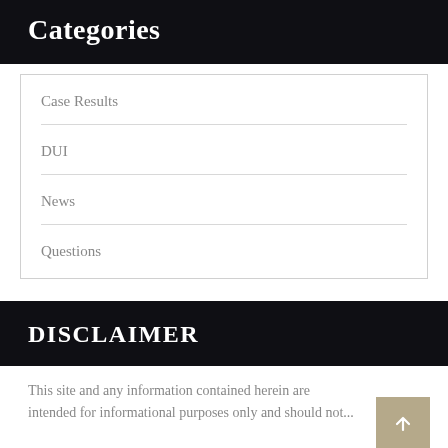Categories
Case Results
DUI
News
Questions
DISCLAIMER
This site and any information contained herein are intended for informational purposes only and should not...